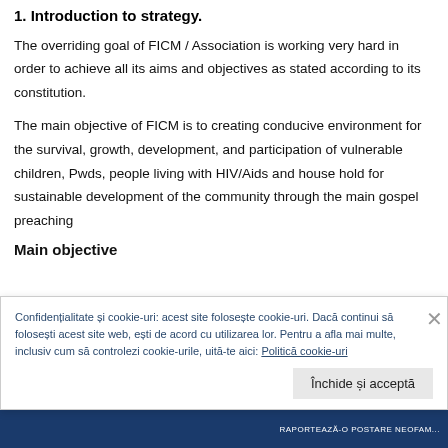1. Introduction to strategy.
The overriding goal of FICM / Association is working very hard in order to achieve all its aims and objectives as stated according to its constitution.
The main objective of FICM is to creating conducive environment for the survival, growth, development, and participation of vulnerable children, Pwds, people living with HIV/Aids and house hold for sustainable development of the community through the main gospel preaching
Main objective
Confidențialitate și cookie-uri: acest site folosește cookie-uri. Dacă continui să folosești acest site web, ești de acord cu utilizarea lor. Pentru a afla mai multe, inclusiv cum să controlezi cookie-urile, uită-te aici: Politică cookie-uri
RAPORTEAZĂ-O POSTARE NEOFAM...